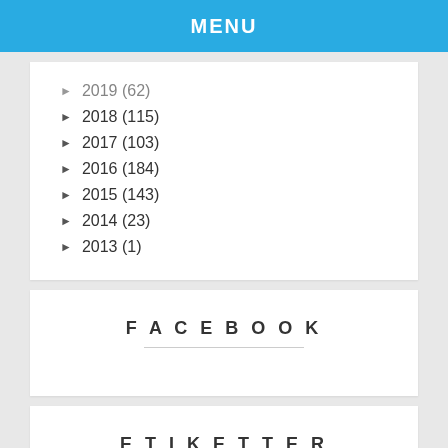MENU
► 2019 (62)
► 2018 (115)
► 2017 (103)
► 2016 (184)
► 2015 (143)
► 2014 (23)
► 2013 (1)
FACEBOOK
ETIKETTER